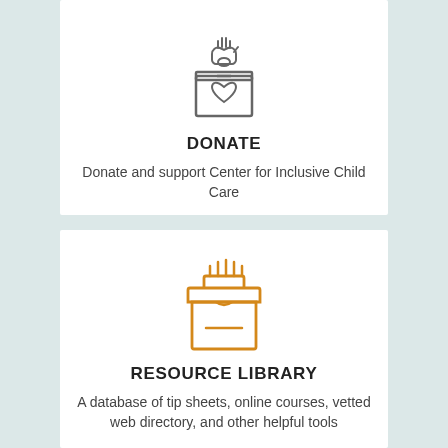[Figure (illustration): Icon of a hand dropping a coin or item into a donation box with a heart on it, drawn in gray outlines]
DONATE
Donate and support Center for Inclusive Child Care
[Figure (illustration): Icon of an open file/archive box with papers sticking out of the top, drawn in orange outlines]
RESOURCE LIBRARY
A database of tip sheets, online courses, vetted web directory, and other helpful tools